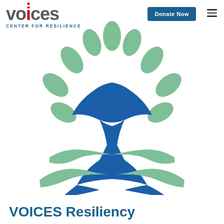[Figure (logo): VOICES Center for Resilience logo with stylized text. 'voices' in dark grey lowercase with a red vertical bar as the second 'i' dot. 'CENTER FOR RESILIENCE' in blue capital letters beneath.]
[Figure (illustration): VOICES Center for Resilience tree illustration: a blue hourglass-shaped trunk/human figure with green leaf shapes forming the canopy above and green swooping root shapes below.]
VOICES Resiliency